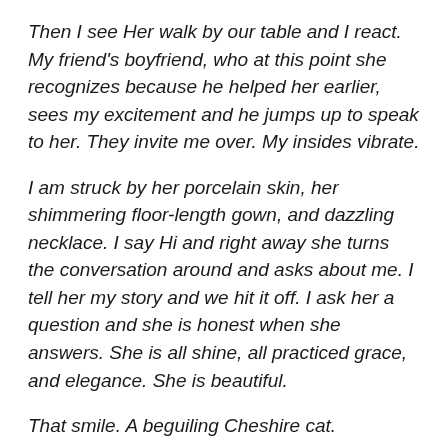Then I see Her walk by our table and I react.  My friend's boyfriend, who at this point she recognizes because he helped her earlier, sees my excitement and he jumps up to speak to her. They invite me over.  My insides vibrate.
I am struck by her porcelain skin, her shimmering floor-length gown, and dazzling necklace.  I say Hi and right away she turns the conversation around and asks about me.  I tell her my story and we hit it off.  I ask her a question and she is honest when she answers.  She is all shine, all practiced grace, and elegance.  She is beautiful.
That smile. A beguiling Cheshire cat.
When I talk, she peers deep into my eyes.  Because she has given me her full attention, and is in no rush, it is easy to talk. There are no distractions, only a sense